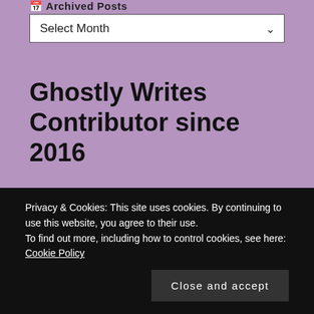Archived Posts
Select Month
Ghostly Writes Contributor since 2016
[Figure (logo): Circular dark emblem with gold ornate scrollwork on top and a gazebo/pagoda silhouette in the center, partially visible at bottom of page]
Privacy & Cookies: This site uses cookies. By continuing to use this website, you agree to their use.
To find out more, including how to control cookies, see here:
Cookie Policy
Close and accept